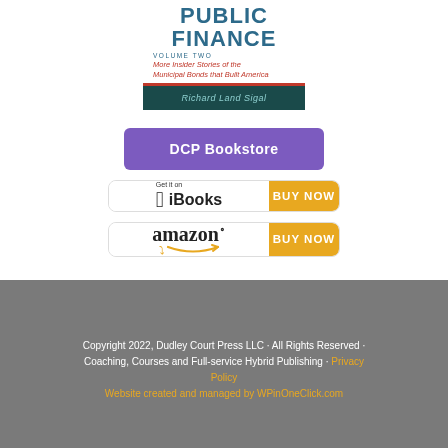[Figure (illustration): Book cover for 'Public Finance Volume Two: More Insider Stories of the Municipal Bonds that Built America' by Richard Land Sigal. Title in teal bold text, subtitle in red italic, red dividing bar, dark teal author bar.]
[Figure (other): Purple button labeled 'DCP Bookstore']
[Figure (other): iBooks Get it on Apple iBooks button with gold BUY NOW button]
[Figure (other): Amazon button with gold BUY NOW button]
Copyright 2022, Dudley Court Press LLC · All Rights Reserved · Coaching, Courses and Full-service Hybrid Publishing · Privacy Policy
Website created and managed by WPinOneClick.com